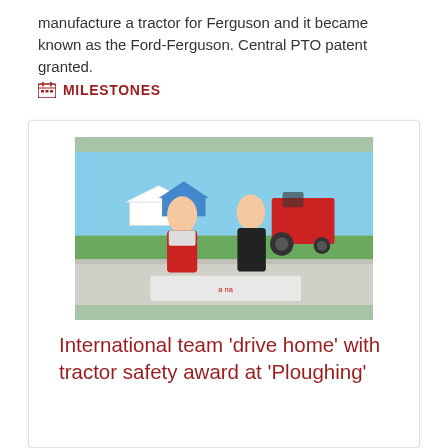manufacture a tractor for Ferguson and it became known as the Ford-Ferguson. Central PTO patent granted.
MILESTONES
[Figure (photo): Two men standing outdoors at an agricultural show. The man on the left wears a red vest, the man on the right wears a black jacket. A red tractor and event tents are visible in the background.]
International team 'drive home' with tractor safety award at 'Ploughing'